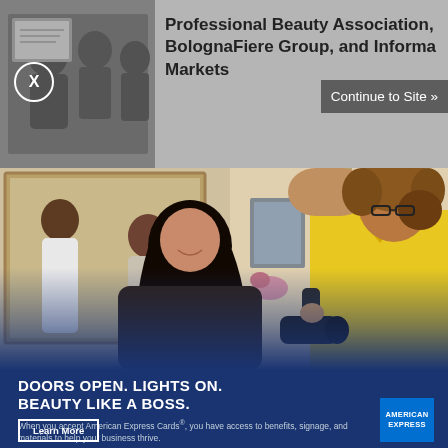[Figure (screenshot): Top greyed-out bar showing thumbnail of people in a meeting/discussion on the left, and article text 'Professional Beauty Association, BolognaFiere Group, and Informa Markets' on the right, with a 'Continue to Site »' overlay button and an X close button]
[Figure (photo): Salon photo showing a hairstylist in a yellow shirt blow-drying a client's hair, with a mirror reflection in the background showing another woman]
DOORS OPEN. LIGHTS ON. BEAUTY LIKE A BOSS.
When you accept American Express Cards®, you have access to benefits, signage, and materials to help your business thrive.
Learn More
[Figure (logo): American Express blue square logo with white text 'AMERICAN EXPRESS']